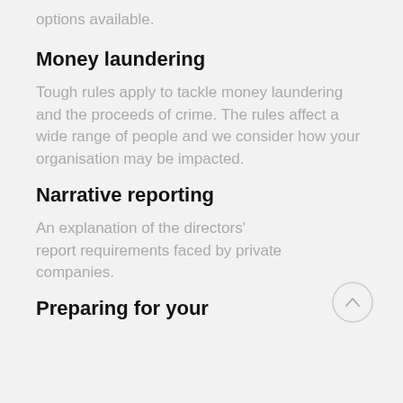options available.
Money laundering
Tough rules apply to tackle money laundering and the proceeds of crime. The rules affect a wide range of people and we consider how your organisation may be impacted.
Narrative reporting
An explanation of the directors' report requirements faced by private companies.
Preparing for your